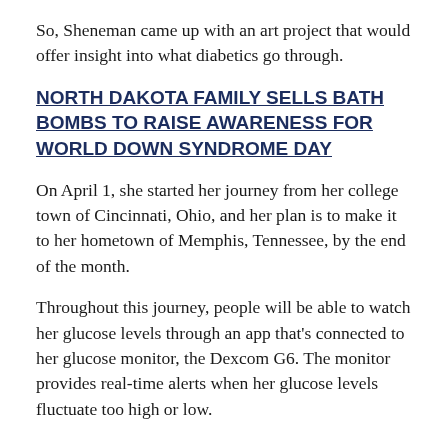So, Sheneman came up with an art project that would offer insight into what diabetics go through.
NORTH DAKOTA FAMILY SELLS BATH BOMBS TO RAISE AWARENESS FOR WORLD DOWN SYNDROME DAY
On April 1, she started her journey from her college town of Cincinnati, Ohio, and her plan is to make it to her hometown of Memphis, Tennessee, by the end of the month.
Throughout this journey, people will be able to watch her glucose levels through an app that's connected to her glucose monitor, the Dexcom G6. The monitor provides real-time alerts when her glucose levels fluctuate too high or low.